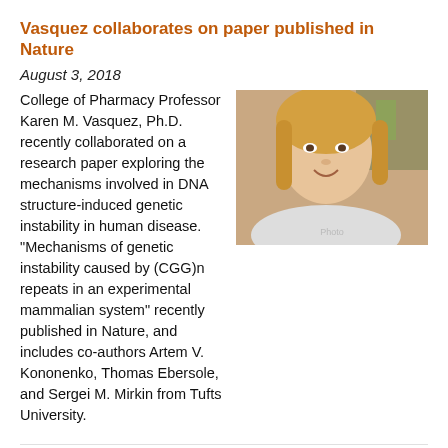Vasquez collaborates on paper published in Nature
August 3, 2018
[Figure (photo): Headshot photo of Professor Karen M. Vasquez, blonde woman smiling in a lab setting]
College of Pharmacy Professor Karen M. Vasquez, Ph.D. recently collaborated on a research paper exploring the mechanisms involved in DNA structure-induced genetic instability in human disease. “Mechanisms of genetic instability caused by (CGG)n repeats in an experimental mammalian system” recently published in Nature, and includes co-authors Artem V. Kononenko, Thomas Ebersole, and Sergei M. Mirkin from Tufts University.
Starving prostate cancer cells
June 8, 2017
[Figure (photo): Headshot photo of a man with glasses and gray beard]
A new study identifies several natural compounds